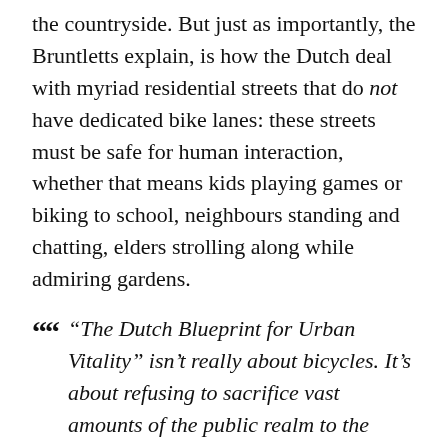the countryside. But just as importantly, the Bruntletts explain, is how the Dutch deal with myriad residential streets that do not have dedicated bike lanes: these streets must be safe for human interaction, whether that means kids playing games or biking to school, neighbours standing and chatting, elders strolling along while admiring gardens.
“The Dutch Blueprint for Urban Vitality” isn’t really about bicycles. It’s about refusing to sacrifice vast amounts of the public realm to the private automobile; instead reserving space for commerce, community, and social connection. The ubiquitous bicycles are simply a by-product of that larger process: a tool to achieve the